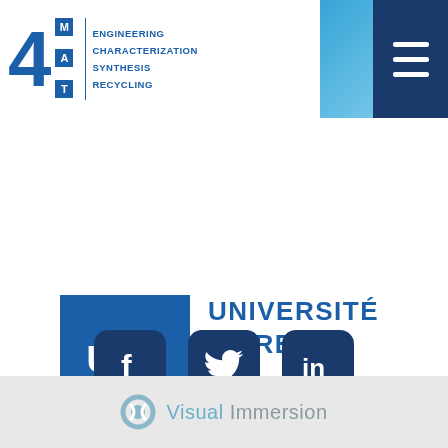[Figure (logo): 4MAT logo with Engineering, Characterization, Synthesis, Recycling keywords and blue diagonal background header with burger menu]
[Figure (logo): ULB - Université Libre de Bruxelles logo with dark blue box and text]
[Figure (logo): Social media icons: Facebook, Twitter, LinkedIn in dark blue rounded squares]
[Figure (logo): Visual Immersion logo in gray footer bar]